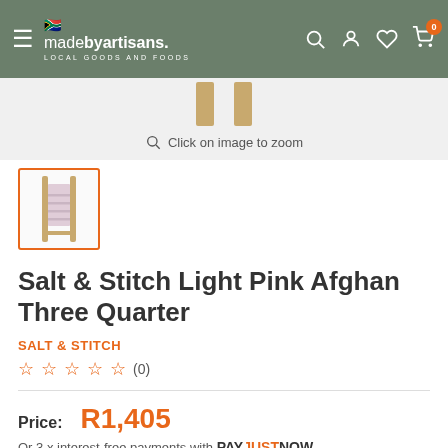madebyartisans. LOCAL GOODS AND FOODS
[Figure (screenshot): Top portion of product image showing two lamp/frame posts with gold/wooden tops visible at top of page]
Click on image to zoom
[Figure (photo): Thumbnail image of Salt & Stitch Light Pink Afghan Three Quarter chair/lounger with orange selection border]
Salt & Stitch Light Pink Afghan Three Quarter
SALT & STITCH
☆ ☆ ☆ ☆ ☆ (0)
Price: R1,405
Or 3 x interest-free payments with PAYJUSTNOW